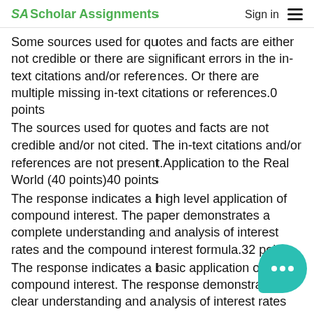SA Scholar Assignments   Sign in  ☰
Some sources used for quotes and facts are either not credible or there are significant errors in the in-text citations and/or references. Or there are multiple missing in-text citations or references.0 points
The sources used for quotes and facts are not credible and/or not cited. The in-text citations and/or references are not present.Application to the Real World (40 points)40 points
The response indicates a high level application of compound interest. The paper demonstrates a complete understanding and analysis of interest rates and the compound interest formula.32 points
The response indicates a basic application of compound interest. The response demonstrates a clear understanding and analysis of interest rates and the compound interest formula.16 points
The response indicates an incomplete application of